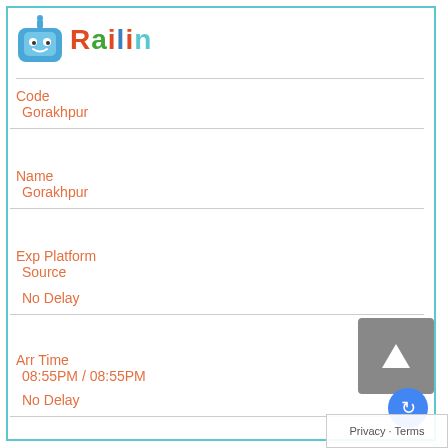[Figure (logo): Railin app logo with blue robot icon and colorful text]
Code
Gorakhpur
Name
Gorakhpur
Exp Platform
Source

No Delay
Arr Time
08:55PM / 08:55PM

No Delay
Dep Time
-
#
2
Code
Deoria Sadar